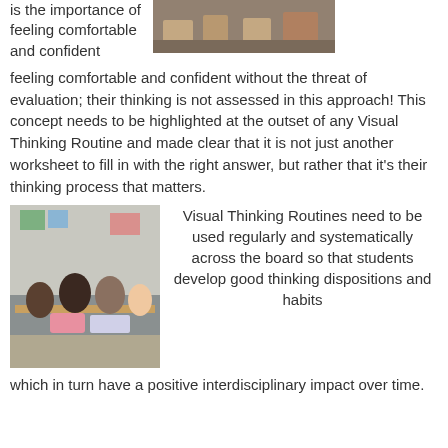[Figure (photo): Classroom scene with students at desks, partial view at top of page]
is the importance of feeling comfortable and confident without the threat of evaluation; their thinking is not assessed in this approach! This concept needs to be highlighted at the outset of any Visual Thinking Routine and made clear that it is not just another worksheet to fill in with the right answer, but rather that it's their thinking process that matters.
[Figure (photo): Students gathered around a table working together in a classroom]
Visual Thinking Routines need to be used regularly and systematically across the board so that students develop good thinking dispositions and habits which in turn have a positive interdisciplinary impact over time.